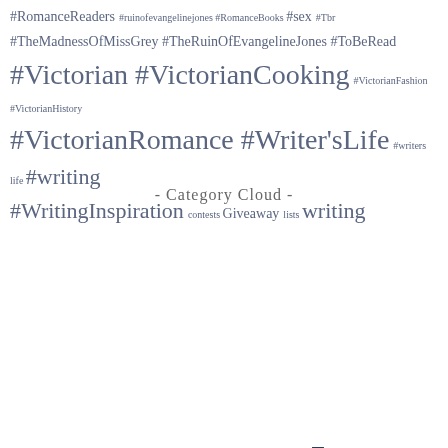[Figure (other): Tag cloud showing hashtags: #RomanceReaders #ruinofevangelinejones #RomanceBooks #sex #Tbr #TheMadnessOfMissGrey #TheRuinOfEvangelineJones #ToBeRead #Victorian #VictorianCooking #VictorianFashion #VictorianHistory #VictorianRomance #Writer'sLife #writers life #writing #WritingInspiration contests Giveaway lists writing]
- Category Cloud -
[Figure (other): Category cloud showing: #History About Books Book News Georgian Cooking Giveaway history Marketing Not About Writing Rants Victorian Cooking Writer's]